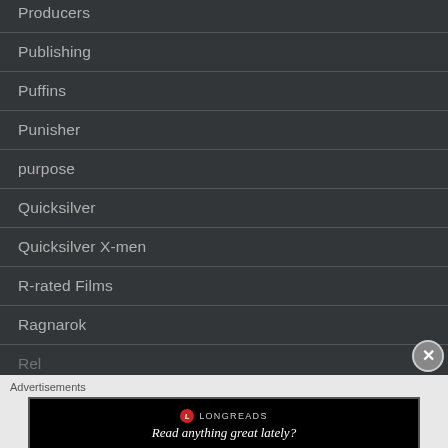Producers
Publishing
Puffins
Punisher
purpose
Quicksilver
Quicksilver X-men
R-rated Films
Ragnarok
Advertisements
[Figure (screenshot): Longreads advertisement banner: red circle logo with L, LONGREADS brand name, text 'Read anything great lately?']